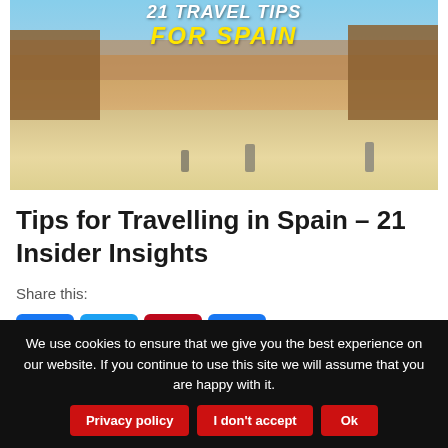[Figure (photo): Hero image of Spain plaza (Plaza de España) with text overlay: '21 TRAVEL TIPS FOR SPAIN' in white and yellow bold italic text]
Tips for Travelling in Spain – 21 Insider Insights
Share this:
[Figure (infographic): Social share buttons: Facebook (blue), Twitter (blue), Pinterest (red), More/Plus (blue)]
When you organise hundreds of bespoke trips across
We use cookies to ensure that we give you the best experience on our website. If you continue to use this site we will assume that you are happy with it.
Privacy policy   I don't accept   Ok